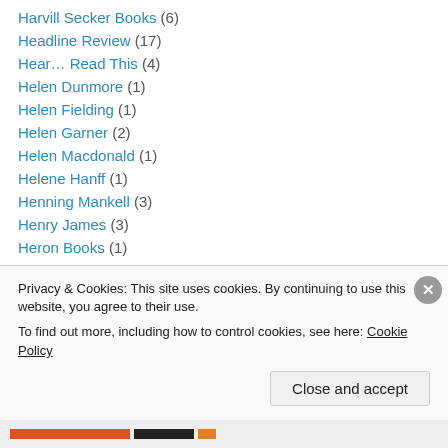Harvill Secker Books (6)
Headline Review (17)
Hear… Read This (4)
Helen Dunmore (1)
Helen Fielding (1)
Helen Garner (2)
Helen Macdonald (1)
Helene Hanff (1)
Henning Mankell (3)
Henry James (3)
Heron Books (1)
Herta Muller (2)
Hesperus Press (9)
Privacy & Cookies: This site uses cookies. By continuing to use this website, you agree to their use.
To find out more, including how to control cookies, see here: Cookie Policy